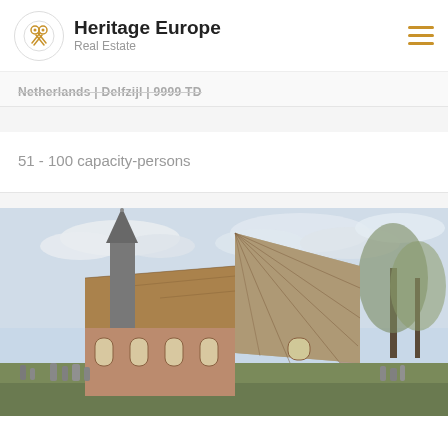Heritage Europe Real Estate
Netherlands | Delfzijl | 9999 TD
51 - 100 capacity-persons
[Figure (photo): Exterior photo of a historic Dutch brick church with a conical roof apse, tall spire, arched windows, and surrounding cemetery with gravestones and bare trees.]